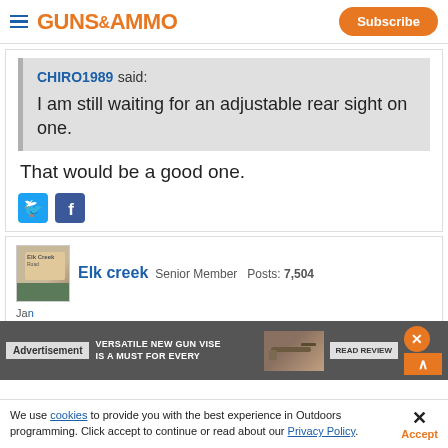Guns & Ammo — Subscribe
CHIRO1989 said: I am still waiting for an adjustable rear sight on one.
That would be a good one.
[Figure (screenshot): Twitter and Facebook share icons]
Elk creek  Senior Member  Posts: 7,504
[Figure (screenshot): Advertisement overlay: VERSATILE NEW GUN VISE IS A MUST FOR EVERY — READ REVIEW]
We use cookies to provide you with the best experience in Outdoors programming. Click accept to continue or read about our Privacy Policy.